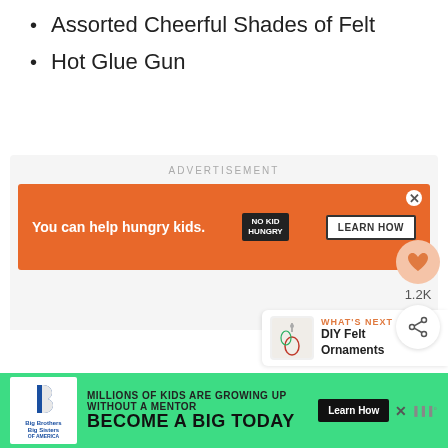Assorted Cheerful Shades of Felt
Hot Glue Gun
[Figure (screenshot): Orange advertisement banner for No Kid Hungry: 'You can help hungry kids.' with No Kid Hungry logo and 'LEARN HOW' button, with close (X) button in top-right]
[Figure (screenshot): Social sidebar showing heart/like icon with count 1.2K and share icon]
[Figure (screenshot): What's Next panel showing DIY Felt Ornaments with thumbnail]
[Figure (screenshot): Bottom green advertisement for Big Brothers Big Sisters: 'Millions of kids are growing up without a mentor. Become a Big Today' with Learn How button]